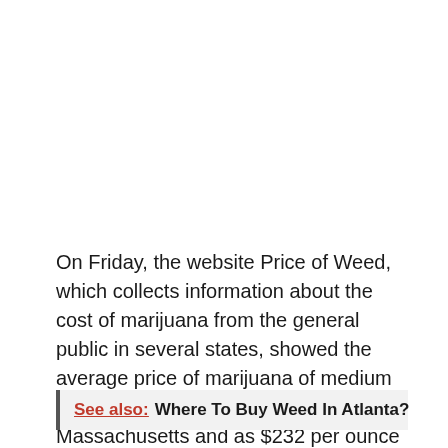On Friday, the website Price of Weed, which collects information about the cost of marijuana from the general public in several states, showed the average price of marijuana of medium quality as $282 per ounce in Massachusetts and as $232 per ounce in Maine.
See also:  Where To Buy Weed In Atlanta?